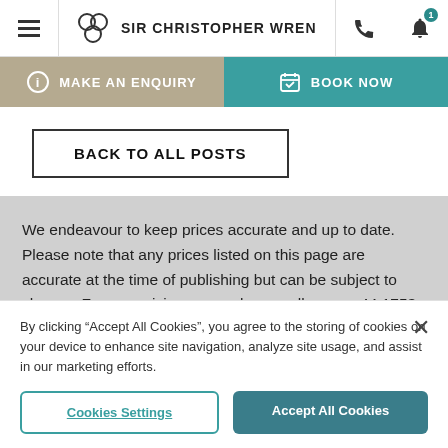SIR CHRISTOPHER WREN
MAKE AN ENQUIRY
BOOK NOW
BACK TO ALL POSTS
We endeavour to keep prices accurate and up to date. Please note that any prices listed on this page are accurate at the time of publishing but can be subject to change. For any pricing query please call us on +44 1753 442400 or email
By clicking “Accept All Cookies”, you agree to the storing of cookies on your device to enhance site navigation, analyze site usage, and assist in our marketing efforts.
Cookies Settings
Accept All Cookies